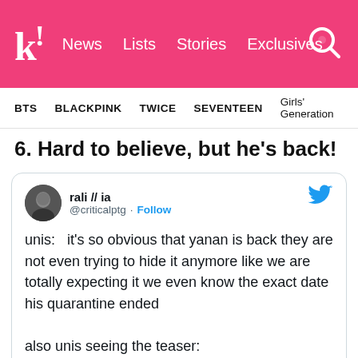k! News Lists Stories Exclusives
BTS BLACKPINK TWICE SEVENTEEN Girls' Generation
6. Hard to believe, but he's back!
rali // ia @criticalptg · Follow
unis:   it's so obvious that yanan is back they are not even trying to hide it anymore like we are totally expecting it we even know the exact date his quarantine ended

also unis seeing the teaser: YANAN??  YANNAN?????? WTF FBJJSJ6372829:&@;

4:10 PM · Sep 17, 2020